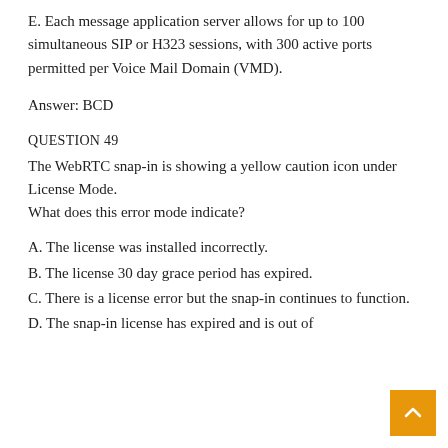E. Each message application server allows for up to 100 simultaneous SIP or H323 sessions, with 300 active ports permitted per Voice Mail Domain (VMD).
Answer: BCD
QUESTION 49
The WebRTC snap-in is showing a yellow caution icon under License Mode.
What does this error mode indicate?
A. The license was installed incorrectly.
B. The license 30 day grace period has expired.
C. There is a license error but the snap-in continues to function.
D. The snap-in license has expired and is out of